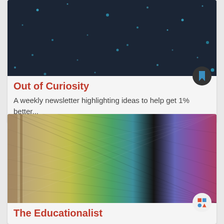[Figure (photo): Dark starfield/space background with blue speckles for Out of Curiosity newsletter card]
Out of Curiosity
A weekly newsletter highlighting ideas to help get 1% better...
[Figure (photo): Close-up photo of colorful woven paper/fabric swatches arranged in a rainbow pattern for The Educationalist newsletter card]
The Educationalist